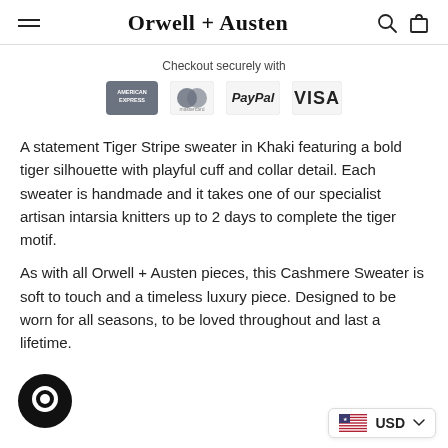Orwell + Austen
Checkout securely with
[Figure (logo): Payment method logos: American Express, Mastercard, PayPal, Visa]
A statement Tiger Stripe sweater in Khaki featuring a bold tiger silhouette with playful cuff and collar detail. Each sweater is handmade and it takes one of our specialist artisan intarsia knitters up to 2 days to complete the tiger motif.
As with all Orwell + Austen pieces, this Cashmere Sweater is soft to touch and a timeless luxury piece. Designed to be worn for all seasons, to be loved throughout and last a lifetime.
[Figure (logo): Chat support bubble icon]
[Figure (other): US flag currency selector showing USD]